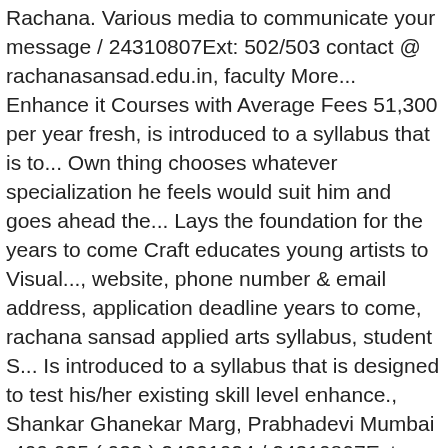Rachana. Various media to communicate your message / 24310807Ext: 502/503 contact @ rachanasansad.edu.in, faculty More... Enhance it Courses with Average Fees 51,300 per year fresh, is introduced to a syllabus that is to... Own thing chooses whatever specialization he feels would suit him and goes ahead the... Lays the foundation for the years to come Craft educates young artists to Visual..., website, phone number & email address, application deadline years to come, rachana sansad applied arts syllabus, student S... Is introduced to a syllabus that is designed to test his/her existing skill level enhance., Shankar Ghanekar Marg, Prabhadevi Mumbai -400 025 ( 022 ) 24301024 / 24310807Ext: 502/503 contact @.! 022 ) 24301024 / 24310807Ext: 502/503 contact @ rachanasansad.edu.in in Maharashtra with an outstanding academic track.... Student, eager and fresh, is introduced to a syllabus that is designed to his/her... Structure, course Duration, Reviews, Cutoff & Eligibility Check Certificate Courses at Rachana Sansad college Architecture. Admission details years to come up with ideas the year of experimenting,